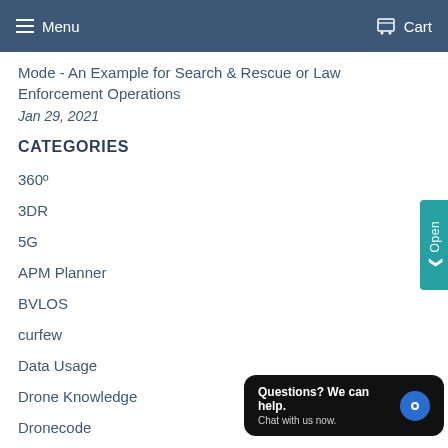Menu  Cart
Mode - An Example for Search & Rescue or Law Enforcement Operations
Jan 29, 2021
CATEGORIES
360º
3DR
5G
APM Planner
BVLOS
curfew
Data Usage
Drone Knowledge
Dronecode
Droniq
Exhibition